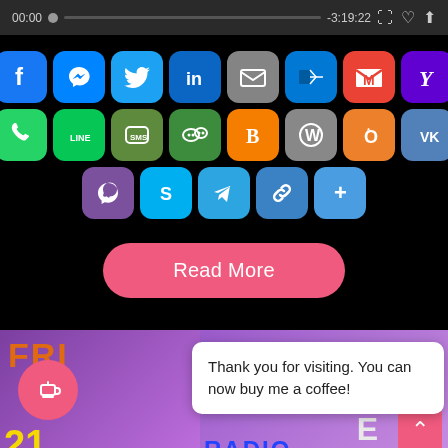[Figure (screenshot): Audio player bar showing 00:00 timestamp, progress bar, -3:19:22 time remaining, and control icons]
[Figure (screenshot): Grid of social sharing icons: Facebook, Messenger, Twitter, LinkedIn, Email, Outlook, Gmail, Yahoo Mail (row 1); WhatsApp, LINE, SMS, WeChat, Blogger, WordPress, Odnoklassniki, VK (row 2); Viber, Skype, Telegram, Copy Link, More (row 3)]
[Figure (screenshot): Pink rounded Read More button]
[Figure (screenshot): Bottom image strip showing colorful radio/music themed banner with FRID, PM, E, RADIO text elements]
Thank you for visiting. You can now buy me a coffee!